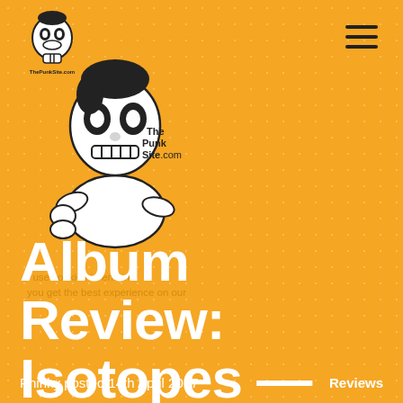[Figure (logo): ThePunkSite.com skull cartoon logo, small version in top left corner]
[Figure (logo): ThePunkSite.com large skull cartoon logo with text 'The Punk Site.com']
[Figure (other): Hamburger menu icon (three horizontal lines) in top right corner]
I use cookies to ensure you get the best experience on our
Album Review: Isotopes — 1994 World Series Champions
Phinky posted 14th April 2017    Reviews